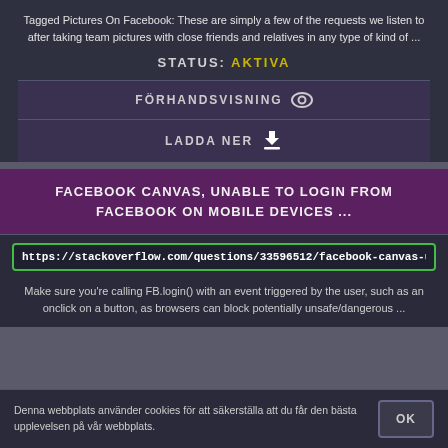Tagged Pictures On Facebook: These are simply a few of the requests we listen to after taking team pictures with close friends and relatives in any type of kind of ...
STATUS: AKTIVA
FÖRHANDSVISNING
LADDA NER
FACEBOOK CANVAS, UNABLE TO LOGIN FROM FACEBOOK ON MOBILE DEVICES ...
https://stackoverflow.com/questions/33596512/facebook-canvas-unable-
Make sure you're calling FB.login() with an event triggered by the user, such as an onclick on a button, as browsers can block potentially unsafe/dangerous ...
Denna webbplats använder cookies för att säkerställa att du får den bästa upplevelsen på vår webbplats.